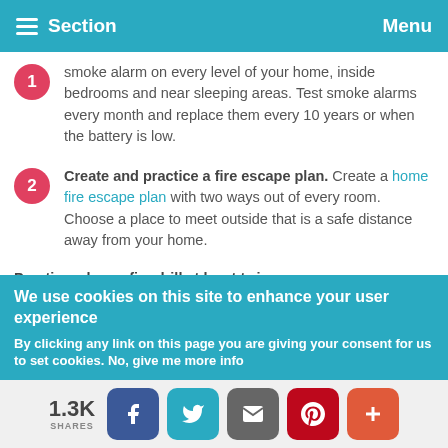Section   Menu
smoke alarm on every level of your home, inside bedrooms and near sleeping areas. Test smoke alarms every month and replace them every 10 years or when the battery is low.
Create and practice a fire escape plan. Create a home fire escape plan with two ways out of every room. Choose a place to meet outside that is a safe distance away from your home.
Practice a home fire drill at least twice a year
We use cookies on this site to enhance your user experience
By clicking any link on this page you are giving your consent for us to set cookies. No, give me more info
1.3K SHARES